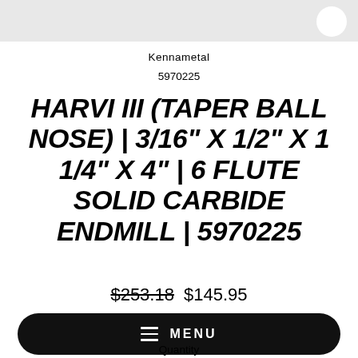Kennametal
5970225
HARVI III (TAPER BALL NOSE) | 3/16" X 1/2" X 1 1/4" X 4" | 6 FLUTE SOLID CARBIDE ENDMILL | 5970225
$253.18  $145.95
MENU
Quantity